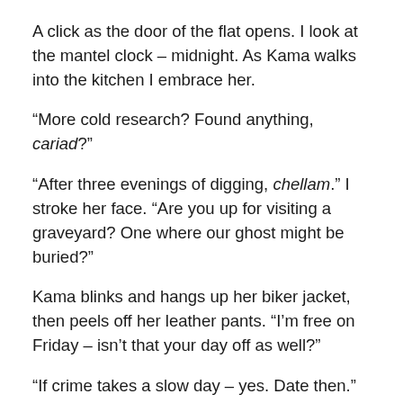A click as the door of the flat opens. I look at the mantel clock – midnight. As Kama walks into the kitchen I embrace her.
“More cold research? Found anything, cariad?”
“After three evenings of digging, chellam.” I stroke her face. “Are you up for visiting a graveyard? One where our ghost might be buried?”
Kama blinks and hangs up her biker jacket, then peels off her leather pants. “I’m free on Friday – isn’t that your day off as well?”
“If crime takes a slow day – yes. Date then.”
##
The stone walls seem part of the white-dotted green fields